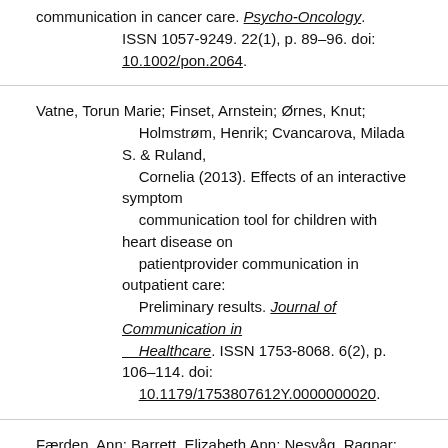communication in cancer care. Psycho-Oncology. ISSN 1057-9249. 22(1), p. 89–96. doi: 10.1002/pon.2064.
Vatne, Torun Marie; Finset, Arnstein; Ørnes, Knut; Holmstrøm, Henrik; Cvancarova, Milada S. & Ruland, Cornelia (2013). Effects of an interactive symptom communication tool for children with heart disease on patientprovider communication in outpatient care: Preliminary results. Journal of Communication in Healthcare. ISSN 1753-8068. 6(2), p. 106–114. doi: 10.1179/1753807612Y.0000000020.
Færden, Ann; Barrett, Elizabeth Ann; Nesvåg, Ragnar; Friis, Svein; Finset, Arnstein & Marder, Stephen R. [Show all 10 contributors for this article] (2013). Apathy, nonverbal memory and male gender predict...